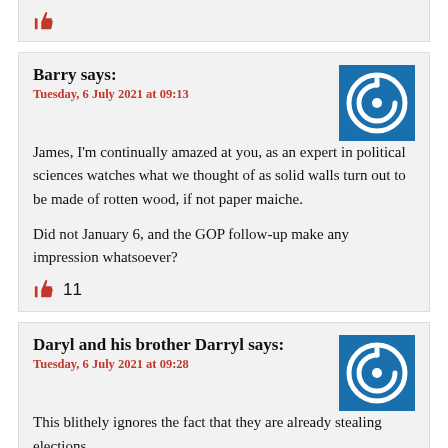Barry says:
Tuesday, 6 July 2021 at 09:13
James, I'm continually amazed at you, as an expert in political sciences watches what we thought of as solid walls turn out to be made of rotten wood, if not paper maiche.

Did not January 6, and the GOP follow-up make any impression whatsoever?
11
Daryl and his brother Darryl says:
Tuesday, 6 July 2021 at 09:28
This blithely ignores the fact that they are already stealing elections.